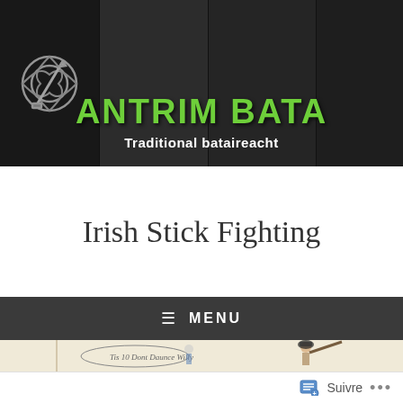[Figure (photo): Antrim Bata website header banner with collage of martial arts/stick fighting photos and Celtic knot symbol on dark background. Green bold text reads ANTRIM BATA, white subtitle reads Traditional bataireacht.]
Irish Stick Fighting
≡ MENU
[Figure (illustration): Historical illustration of Irish stick fighting, showing figures wielding sticks. Caption visible: 'Tis 10 Dont Daunce Willy']
Suivre ...